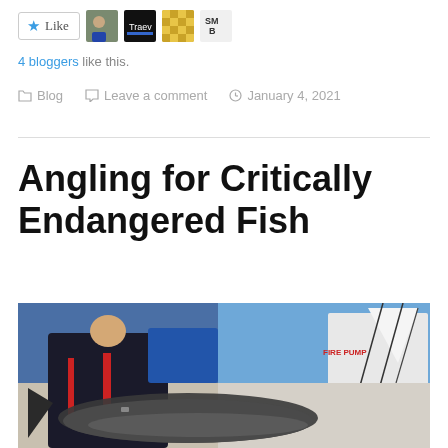[Figure (screenshot): Like button with star icon and four blogger avatar thumbnails to the right]
4 bloggers like this.
Blog   Leave a comment   January 4, 2021
Angling for Critically Endangered Fish
[Figure (photo): Person sitting on a boat deck holding a large fish (appears to be a shark or tuna), with fishing rods and a fire pump visible in the background, blue sky above.]